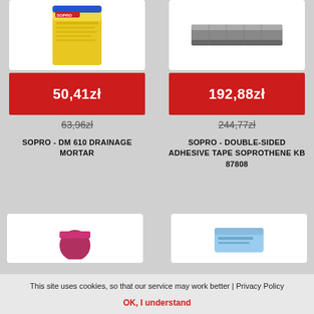[Figure (photo): Yellow bag of SOPRO DM 610 drainage mortar product]
[Figure (photo): Gray double-sided adhesive tape roll - SOPRO Soprothene KB 87808]
50,41zł
192,88zł
63,96zł
244,77zł
SOPRO - DM 610 DRAINAGE MORTAR
SOPRO - DOUBLE-SIDED ADHESIVE TAPE SOPROTHENE KB 87808
[Figure (photo): Partial view of a product (red/pink colored) - bottom row left]
[Figure (photo): Partial view of a blue product box - bottom row right]
This site uses cookies, so that our service may work better | Privacy Policy
OK, I understand